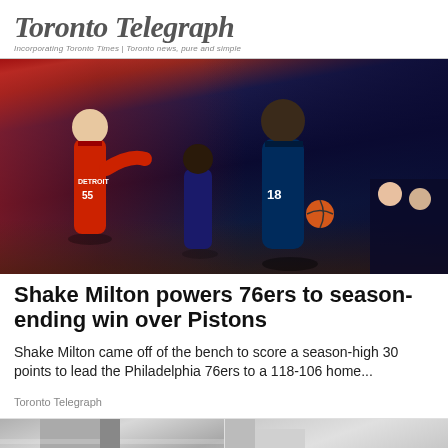Toronto Telegraph
Incorporating Toronto Times | Toronto news, pure and simple
[Figure (photo): Basketball game action shot: Philadelphia 76ers player #18 dribbling the ball, with Detroit Pistons player #55 defending. Coaches and bench players visible in background. Indoor arena setting.]
Shake Milton powers 76ers to season-ending win over Pistons
Shake Milton came off of the bench to score a season-high 30 points to lead the Philadelphia 76ers to a 118-106 home...
Toronto Telegraph
[Figure (photo): Partial view of two grey-toned photos at the bottom of the page, cropped.]